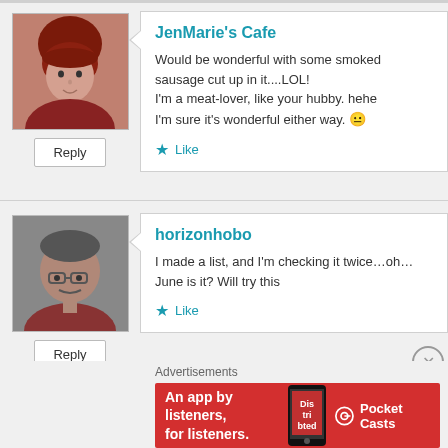JenMarie's Cafe
Would be wonderful with some smoked sausage cut up in it....LOL! I'm a meat-lover, like your hubby. hehe I'm sure it's wonderful either way. 🙂
Like
horizonhobo
I made a list, and I'm checking it twice...oh...June is it? Will try this
Like
arielemery6
Just made this – husband said it was yummy before I even asked fo
Like
Advertisements
[Figure (other): Red Pocket Casts advertisement banner reading 'An app by listeners, for listeners.' with phone graphic and Pocket Casts logo]